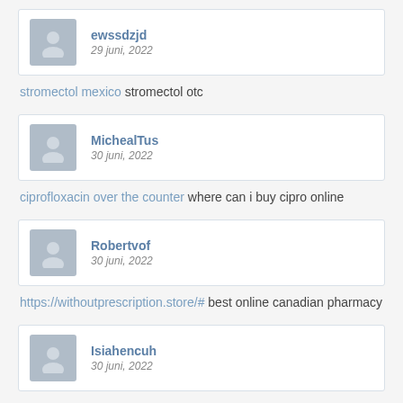ewssdzjd
29 juni, 2022
stromectol mexico stromectol otc
MichealTus
30 juni, 2022
ciprofloxacin over the counter where can i buy cipro online
Robertvof
30 juni, 2022
https://withoutprescription.store/# best online canadian pharmacy
Isiahencuh
30 juni, 2022